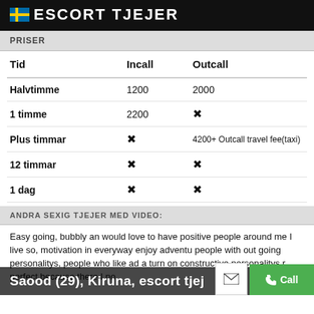ESCORT TJEJER
PRISER
| Tid | Incall | Outcall |
| --- | --- | --- |
| Halvtimme | 1200 | 2000 |
| 1 timme | 2200 | ✕ |
| Plus timmar | ✕ | 4200+ Outcall travel fee(taxi) |
| 12 timmar | ✕ | ✕ |
| 1 dag | ✕ | ✕ |
ANDRA SEXIG TJEJER MED VIDEO:
Easy going, bubbly an would love to have positive people around me I live so, motivation in everyway enjoy adventu people with out going personalitys, people who like ad a turn on constructive personalitys r perfect because there I no
Saood (29), Kiruna, escort tjej